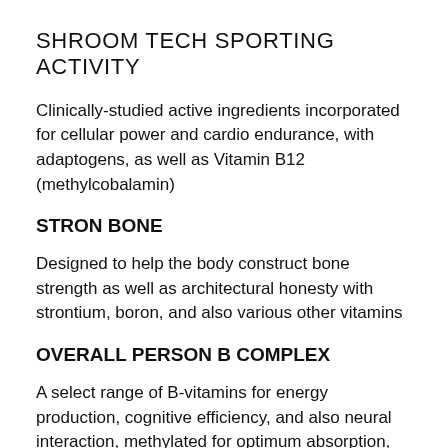SHROOM TECH SPORTING ACTIVITY
Clinically-studied active ingredients incorporated for cellular power and cardio endurance, with adaptogens, as well as Vitamin B12 (methylcobalamin)
STRON BONE
Designed to help the body construct bone strength as well as architectural honesty with strontium, boron, and also various other vitamins
OVERALL PERSON B COMPLEX
A select range of B-vitamins for energy production, cognitive efficiency, and also neural interaction, methylated for optimum absorption,